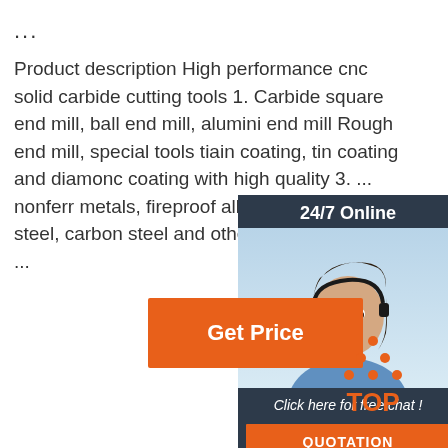...
Product description High performance cnc solid carbide cutting tools 1. Carbide square end mill, ball end mill, aluminium end mill Rough end mill, special tools tiain coating, tin coating and diamond coating with high quality 3. ... nonferrous metals, fireproof alloy, titanium alloy, steel, carbon steel and other non-me... It has ...
[Figure (other): Chat widget with 24/7 Online banner, photo of customer service representative with headset, 'Click here for free chat!' text, and QUOTATION button]
[Figure (other): Orange Get Price button]
[Figure (logo): TOP logo with orange dots arranged in triangle above the word TOP in orange]